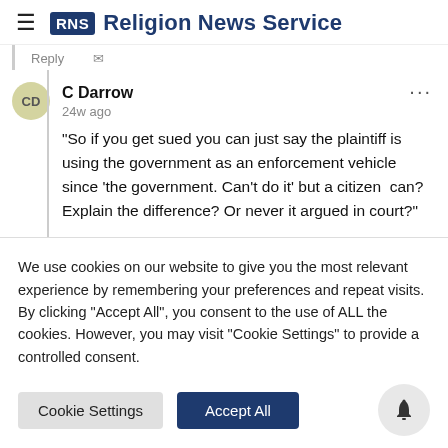RNS Religion News Service
Reply [truncated]
C Darrow
24w ago
“So if you get sued you can just say the plaintiff is using the government as an enforcement vehicle since ‘the government. Can’t do it’ but a citizen can? Explain the difference? Or never it argued in court?”
We use cookies on our website to give you the most relevant experience by remembering your preferences and repeat visits. By clicking “Accept All”, you consent to the use of ALL the cookies. However, you may visit "Cookie Settings" to provide a controlled consent.